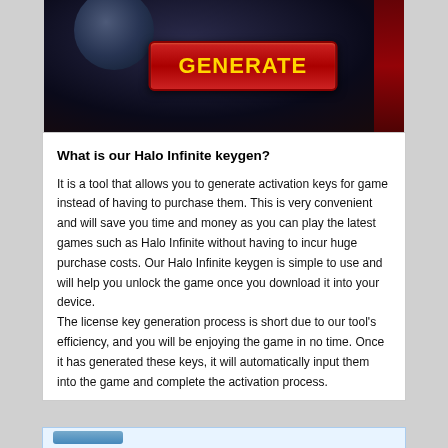[Figure (screenshot): Dark Halo Infinite themed image with a red 'GENERATE' button in gold text on a dark space background with a planet visible]
What is our Halo Infinite keygen?
It is a tool that allows you to generate activation keys for game instead of having to purchase them. This is very convenient and will save you time and money as you can play the latest games such as Halo Infinite without having to incur huge purchase costs. Our Halo Infinite keygen is simple to use and will help you unlock the game once you download it into your device.
The license key generation process is short due to our tool's efficiency, and you will be enjoying the game in no time. Once it has generated these keys, it will automatically input them into the game and complete the activation process.
[Figure (screenshot): Bottom partial bar with blue button visible]